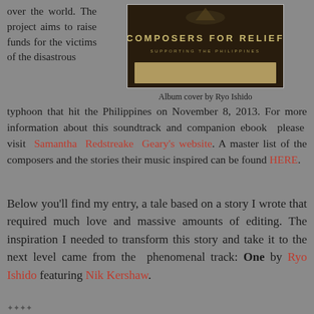over the world. The project aims to raise funds for the victims of the disastrous
[Figure (illustration): Album cover for 'Composers for Relief – Supporting the Philippines', dark background with text and decorative elements]
Album cover by Ryo Ishido
typhoon that hit the Philippines on November 8, 2013. For more information about this soundtrack and companion ebook please visit Samantha Redstreake Geary's website. A master list of the composers and the stories their music inspired can be found HERE.
Below you'll find my entry, a tale based on a story I wrote that required much love and massive amounts of editing. The inspiration I needed to transform this story and take it to the next level came from the phenomenal track: One by Ryo Ishido featuring Nik Kershaw.